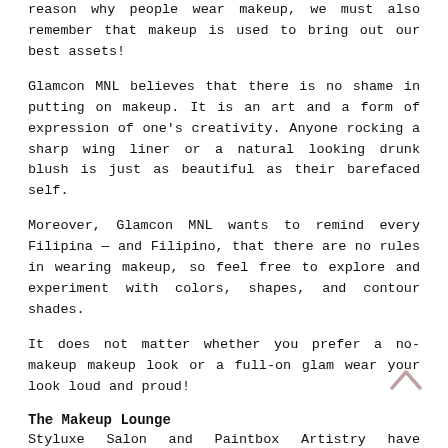reason why people wear makeup, we must also remember that makeup is used to bring out our best assets!
Glamcon MNL believes that there is no shame in putting on makeup. It is an art and a form of expression of one's creativity. Anyone rocking a sharp wing liner or a natural looking drunk blush is just as beautiful as their barefaced self.
Moreover, Glamcon MNL wants to remind every Filipina — and Filipino, that there are no rules in wearing makeup, so feel free to explore and experiment with colors, shapes, and contour shades.
It does not matter whether you prefer a no-makeup makeup look or a full-on glam wear your look loud and proud!
The Makeup Lounge
Styluxe Salon and Paintbox Artistry have partnered with